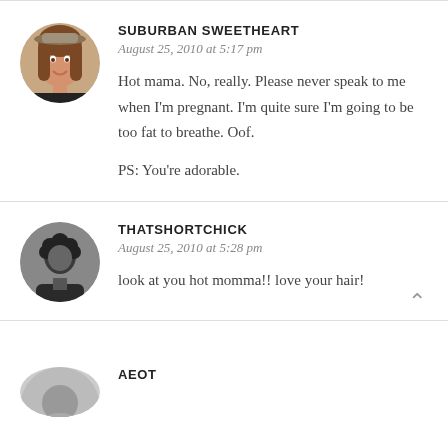[Figure (photo): Circular avatar photo of a woman with long brown hair wearing a hat, smiling]
SUBURBAN SWEETHEART
August 25, 2010 at 5:17 pm

Hot mama. No, really. Please never speak to me when I'm pregnant. I'm quite sure I'm going to be too fat to breathe. Oof.

PS: You're adorable.
[Figure (photo): Circular avatar photo of a person with short curly hair, dark and white image]
THATSHORTCHICK
August 25, 2010 at 5:28 pm

look at you hot momma!! love your hair!
[Figure (photo): Circular avatar photo, partially visible at bottom, appears to be a grey/silhouette avatar]
AEOT